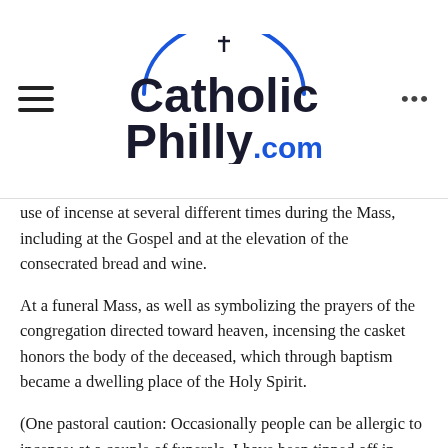CatholicPhilly.com
use of incense at several different times during the Mass, including at the Gospel and at the elevation of the consecrated bread and wine.
At a funeral Mass, as well as symbolizing the prayers of the congregation directed toward heaven, incensing the casket honors the body of the deceased, which through baptism became a dwelling place of the Holy Spirit.
(One pastoral caution: Occasionally people can be allergic to incense; at a couple of funerals, I have been tipped off in advance about such a concern and have foregone the use of incense at that particular Mass.)
Q. Can you please explain what a pastor's duties are and